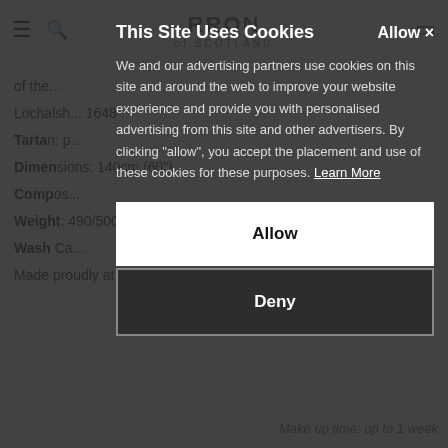RRON of SCOTLAND (website header with navigation)
of the... Lochalsh... 1648
Tartan: p...
Dimensions: 140cm (60")
Composition:
Weight: 490/500 gms per linear metre 16oz per linear yard
Wash Care:
Made proudly at our mill in the heart of the Scottish Borders
Make up time: up to 1 week
This Site Uses Cookies
Allow ×
We and our advertising partners use cookies on this site and around the web to improve your website experience and provide you with personalised advertising from this site and other advertisers. By clicking "allow", you accept the placement and use of these cookies for these purposes. Learn More
Allow
Deny